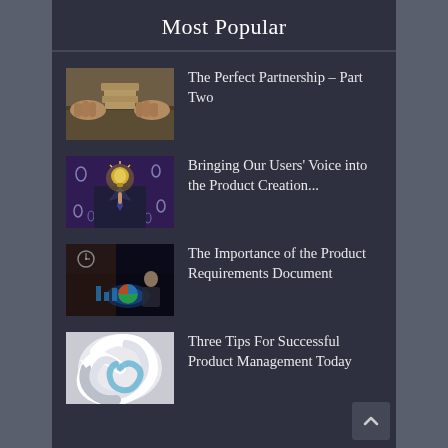Most Popular
The Perfect Partnership – Part Two
[Figure (photo): Two hands placing wooden blocks on a stack, viewed from above on a wooden table]
Bringing Our Users' Voice into the Product Creation...
[Figure (photo): Person in suit touching a glowing light bulb icon surrounded by droplet icons on a dark purple background]
The Importance of the Product Requirements Document
[Figure (photo): Business analytics dashboard with charts and a person in background, dark themed]
Three Tips For Successful Product Management Today
[Figure (photo): Spiral of white 3D arrows with a blue ribbon, abstract design]